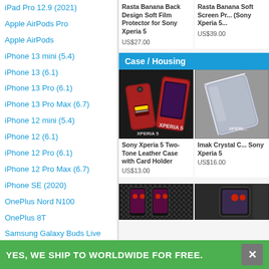iPad Pro 12.9 (2021)
Apple AirPods Pro
Apple AirPods
iPhone 13 mini (5.4)
iPhone 13 (6.1)
iPhone 13 Pro (6.1)
iPhone 13 Pro Max (6.7)
iPhone 12 mini (5.4)
iPhone 12 (6.1)
iPhone 12 Pro (6.1)
iPhone 12 Pro Max (6.7)
iPhone SE (2020)
OnePlus Nord N100
OnePlus 8T
Samsung Galaxy Buds Live
Samsung Galaxy Buds
Samsung Galaxy Note20 Ultra
Rasta Banana Back Design Soft Film Protector for Sony Xperia 5
US$27.00
Rasta Banana Soft Screen Pr... (Sony Xperia 5...
US$39.00
Case / Housing
[Figure (photo): Sony Xperia 5 red two-tone leather case with card holder shown from back]
Sony Xperia 5 Two-Tone Leather Case with Card Holder
US$13.00
[Figure (photo): Imak Crystal Clear case for Sony Xperia 5 shown at angle]
Imak Crystal C... Sony Xperia 5
US$16.00
[Figure (photo): Partial view of a dark carbon fiber style case]
[Figure (photo): Partial view of another case product]
YES, WE SHIP TO WORLDWIDE FOR FREE.